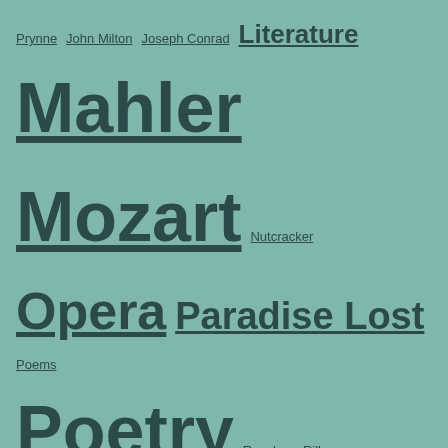Prynne  John Milton  Joseph Conrad  Literature  Mahler  Mozart  Nutcracker  Opera  Paradise Lost  Poems  Poetry  Revolver  Rilke  Samuel Johnson  Sandpiper  Shakespeare  Sibelius  Simon Rattle  Stories  T.S. Eliot  Tchaikovsky  Ted Hughes  The Beatles  Thomas Hardy  Wagner  William Blake
Recent posts
Doubles, doppelgängers and split personalities
Reality
Catching up
Culture Club: Theme for May – July 2011